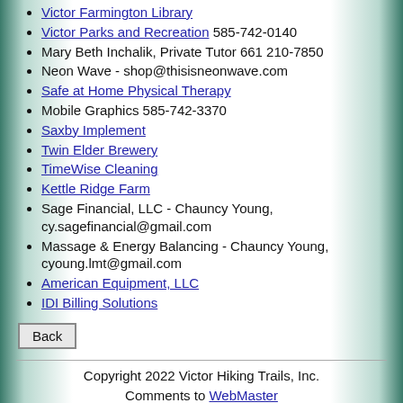Victor Farmington Library
Victor Parks and Recreation 585-742-0140
Mary Beth Inchalik, Private Tutor 661 210-7850
Neon Wave - shop@thisisneonwave.com
Safe at Home Physical Therapy
Mobile Graphics 585-742-3370
Saxby Implement
Twin Elder Brewery
TimeWise Cleaning
Kettle Ridge Farm
Sage Financial, LLC - Chauncy Young, cy.sagefinancial@gmail.com
Massage & Energy Balancing - Chauncy Young, cyoung.lmt@gmail.com
American Equipment, LLC
IDI Billing Solutions
Copyright 2022 Victor Hiking Trails, Inc. Comments to WebMaster